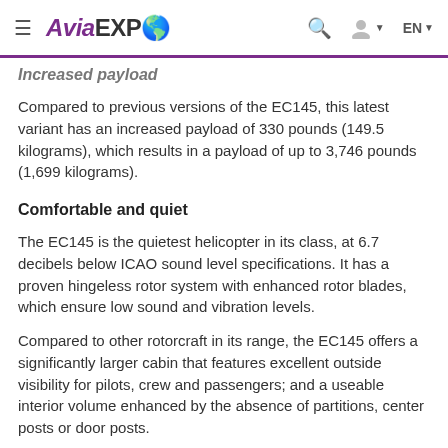AviaEXPO [logo with globe]
Increased payload
Compared to previous versions of the EC145, this latest variant has an increased payload of 330 pounds (149.5 kilograms), which results in a payload of up to 3,746 pounds (1,699 kilograms).
Comfortable and quiet
The EC145 is the quietest helicopter in its class, at 6.7 decibels below ICAO sound level specifications. It has a proven hingeless rotor system with enhanced rotor blades, which ensure low sound and vibration levels.
Compared to other rotorcraft in its range, the EC145 offers a significantly larger cabin that features excellent outside visibility for pilots, crew and passengers; and a useable interior volume enhanced by the absence of partitions, center posts or door posts.
The helicopter can seat up to 12 pilot/s and passengers.